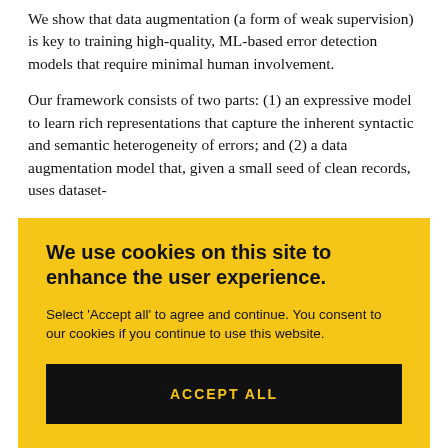We show that data augmentation (a form of weak supervision) is key to training high-quality, ML-based error detection models that require minimal human involvement.
Our framework consists of two parts: (1) an expressive model to learn rich representations that capture the inherent syntactic and semantic heterogeneity of errors; and (2) a data augmentation model that, given a small seed of clean records, uses dataset-
[Figure (screenshot): Cookie consent overlay with yellow background. Title: 'We use cookies on this site to enhance the user experience.' Body text: 'Select Accept all to agree and continue. You consent to our cookies if you continue to use this website.' Black button with yellow text reading 'ACCEPT ALL'.]
data augmentation yields an average improvement of 20 F1